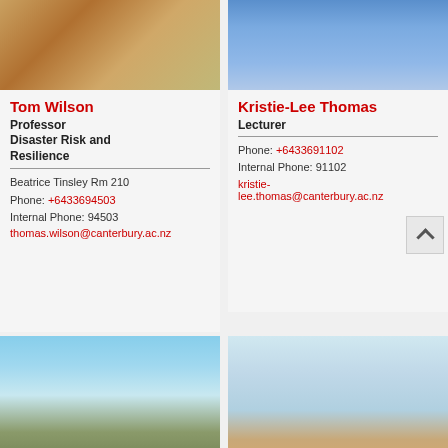[Figure (photo): Photo of Tom Wilson, man in plaid shirt seated]
Tom Wilson
Professor
Disaster Risk and Resilience
Beatrice Tinsley Rm 210
Phone: +6433694503
Internal Phone: 94503
thomas.wilson@canterbury.ac.nz
[Figure (photo): Photo of Kristie-Lee Thomas, woman in blue outdoors]
Kristie-Lee Thomas
Lecturer
Phone: +6433691102
Internal Phone: 91102
kristie-lee.thomas@canterbury.ac.nz
[Figure (photo): Photo of a man in sunglasses standing in front of ornate domed building]
[Figure (photo): Photo of a woman with curly hair in front of snowy mountain]